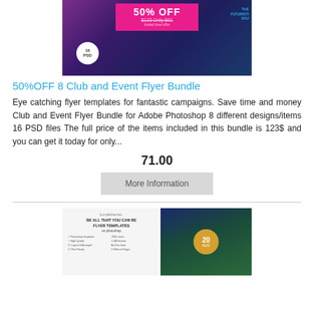[Figure (photo): Product promotional image for 50% OFF Club and Event Flyer Bundle showing dark purple/blue background with flyer mockups, pink promo box with '50% OFF', '$123 Only $61', 'limited time offer', and a circular badge saying '16 PSD']
50%OFF 8 Club and Event Flyer Bundle
Eye catching flyer templates for fantastic campaigns. Save time and money Club and Event Flyer Bundle for Adobe Photoshop 8 different designs/items 16 PSD files The full price of the items included in this bundle is 123$ and you can get it today for only...
71.00
More Information
[Figure (photo): Second product image showing 'BE ALL THAT YOU CAN BE FLYER TEMPLATES on Photoshop' with feature icons on the left, and a dark blue/green abstract design with a gold circular badge showing '20 AUG' on the right]